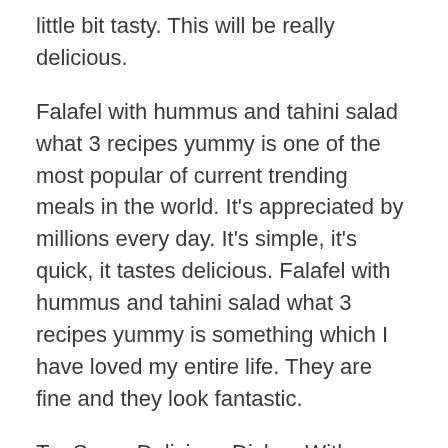little bit tasty. This will be really delicious.
Falafel with hummus and tahini salad what 3 recipes yummy is one of the most popular of current trending meals in the world. It's appreciated by millions every day. It's simple, it's quick, it tastes delicious. Falafel with hummus and tahini salad what 3 recipes yummy is something which I have loved my entire life. They are fine and they look fantastic.
Try Some Delicious Dishes With Kraft® Official Hummus Recipes. Tahini salad " in a bowl mix yogurt with tahini tomatoes green onions salt need to be thick ". Making hummus without tahini: In the hummus-loving world, there are two camps.
To begin with this particular recipe, we have to first prepare a few ingredients. You can have falafel with hummus and